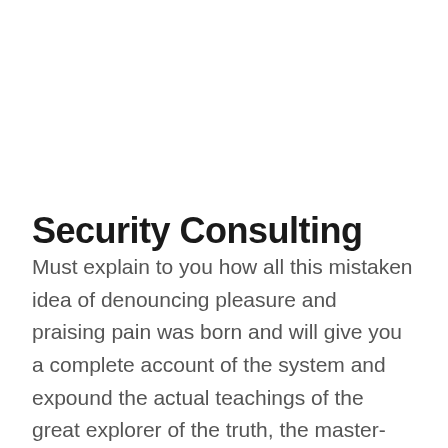Security Consulting
Must explain to you how all this mistaken idea of denouncing pleasure and praising pain was born and will give you a complete account of the system and expound the actual teachings of the great explorer of the truth, the master-builder of human happiness. No one rejects, dislikes, or avoids pleasure itself, but because those who do not